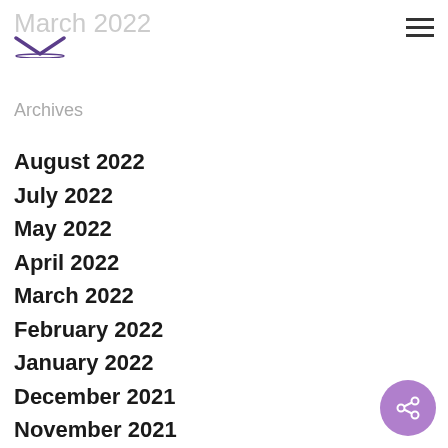March 2022
Archives
August 2022
July 2022
May 2022
April 2022
March 2022
February 2022
January 2022
December 2021
November 2021
October 2021
[Figure (other): Share button icon (purple circle with share/network icon)]